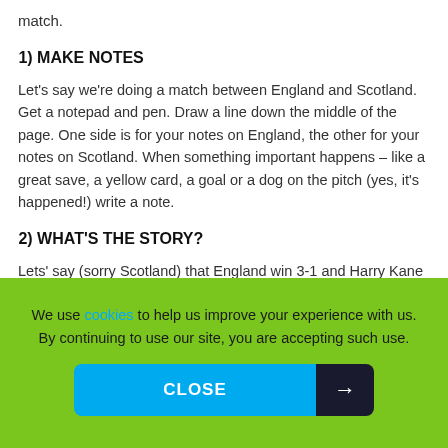match.
1) MAKE NOTES
Let's say we're doing a match between England and Scotland. Get a notepad and pen. Draw a line down the middle of the page. One side is for your notes on England, the other for your notes on Scotland. When something important happens – like a great save, a yellow card, a goal or a dog on the pitch (yes, it's happened!) write a note.
2) WHAT'S THE STORY?
Lets' say (sorry Scotland) that England win 3-1 and Harry Kane scores a hat-trick. Your job as a journalist is to pick
We use cookies to help us improve your experience with us. By continuing to use our site, you are accepting such use.
CLOSE →